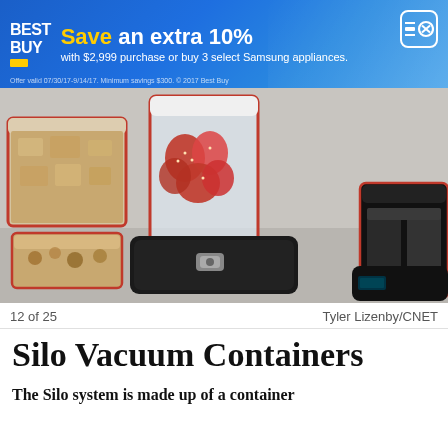[Figure (infographic): Best Buy advertisement banner: 'Save an extra 10% with $2,999 purchase or buy 3 select Samsung appliances.' with Best Buy logo and close button.]
[Figure (photo): Photo of Silo Vacuum Containers — food storage containers with red trim and a black vacuum pump base, containing strawberries, crackers, and other foods on a white surface.]
12 of 25            Tyler Lizenby/CNET
Silo Vacuum Containers
The Silo system is made up of a container